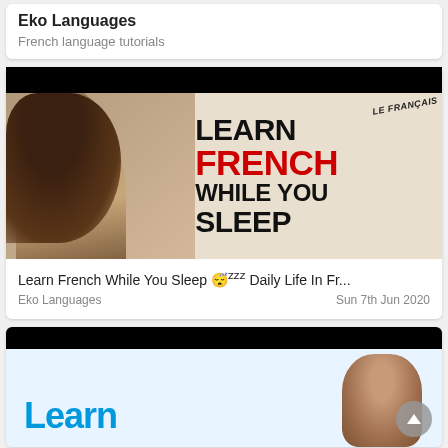Eko Languages
French language tutorials
[Figure (photo): Thumbnail for 'Learn French While You Sleep' video showing a woman with long dark hair beside large bold text: LEARN FRENCH WHILE YOU SLEEP, with LE FRANÇAIS in small italic text at top right]
Learn French While You Sleep 😴zzz Daily Life In Fr...
Eko Languages
Sun 7th Jun 2020
[Figure (photo): Partial thumbnail for another French learning video showing cyan/blue 'Learn' text and a person with headphones on the right side]